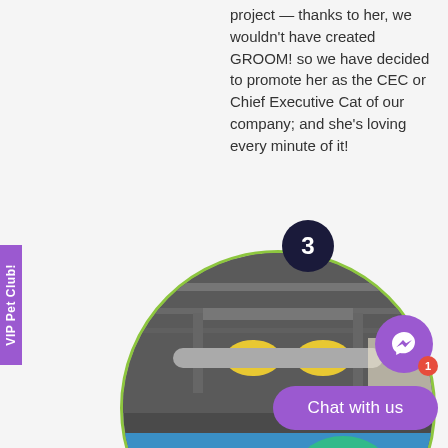project — thanks to her, we wouldn't have created GROOM! so we have decided to promote her as the CEC or Chief Executive Cat of our company; and she's loving every minute of it!
[Figure (photo): Circular cropped photo of a printing press machine processing colorful printed sheets, with a dark circle badge showing the number 3 at the top.]
[Figure (other): Purple circular Messenger chat icon button with a notification badge showing '1', and a 'Chat with us' purple pill button below it.]